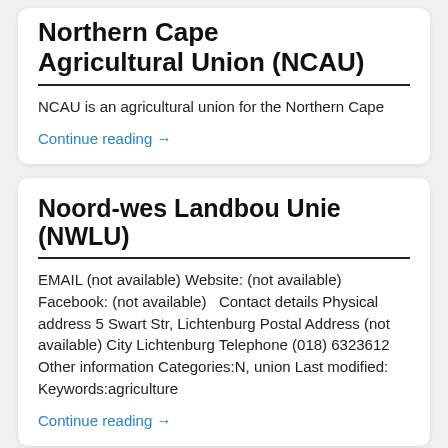Northern Cape Agricultural Union (NCAU)
NCAU is an agricultural union for the Northern Cape
Continue reading →
Noord-wes Landbou Unie (NWLU)
EMAIL (not available) Website: (not available) Facebook: (not available)   Contact details Physical address 5 Swart Str, Lichtenburg Postal Address (not available) City Lichtenburg Telephone (018) 6323612 Other information Categories:N, union Last modified:   Keywords:agriculture
Continue reading →
National Teachers Union